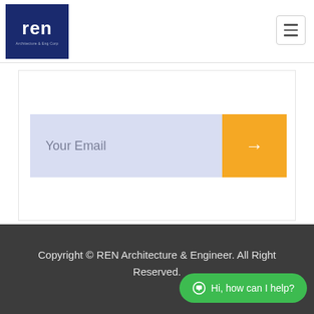[Figure (logo): REN Architecture & Engineering logo — dark navy blue square with white 'ren' text]
[Figure (other): Hamburger menu icon (three horizontal lines) in top-right corner]
Your Email
Copyright © REN Architecture & Engineer. All Right Reserved.
Hi, how can I help?